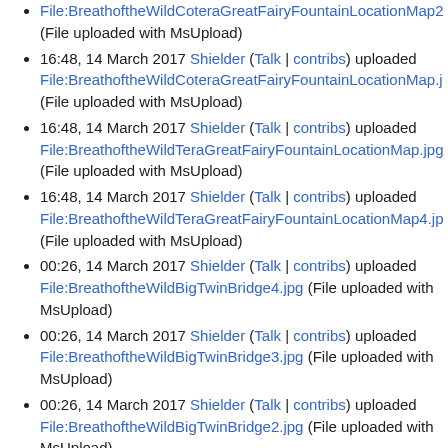File:BreathoftheWildCoteraGreatFairyFountainLocationMap2 (File uploaded with MsUpload)
16:48, 14 March 2017 Shielder (Talk | contribs) uploaded File:BreathoftheWildCoteraGreatFairyFountainLocationMap.j (File uploaded with MsUpload)
16:48, 14 March 2017 Shielder (Talk | contribs) uploaded File:BreathoftheWildTeraGreatFairyFountainLocationMap.jpg (File uploaded with MsUpload)
16:48, 14 March 2017 Shielder (Talk | contribs) uploaded File:BreathoftheWildTeraGreatFairyFountainLocationMap4.jp (File uploaded with MsUpload)
00:26, 14 March 2017 Shielder (Talk | contribs) uploaded File:BreathoftheWildBigTwinBridge4.jpg (File uploaded with MsUpload)
00:26, 14 March 2017 Shielder (Talk | contribs) uploaded File:BreathoftheWildBigTwinBridge3.jpg (File uploaded with MsUpload)
00:26, 14 March 2017 Shielder (Talk | contribs) uploaded File:BreathoftheWildBigTwinBridge2.jpg (File uploaded with MsUpload)
00:26, 14 March 2017 Shielder (Talk | contribs) uploaded File:BreathoftheWildBigTwinBridge.jpg (File uploaded with MsUpload)
00:26, 14 March 2017 Shielder (Talk | contribs) uploaded File:BreathoftheWildMiskotheGreatBandit13.jpg (File